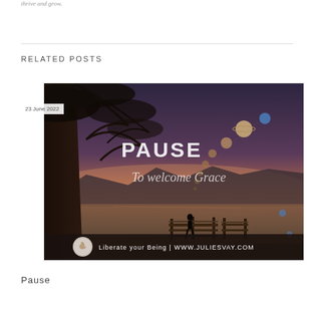thrive and grow.
Related posts
23 June 2022
[Figure (photo): A serene landscape photo at dusk showing a person standing on a wooden dock beside a calm lake, with a tree silhouette in the foreground, planets/spheres arcing across a purple-orange sky, and text overlays reading 'PAUSE', 'To welcome Grace', and 'Liberate your Being | WWW.JULIESVAY.COM']
Pause